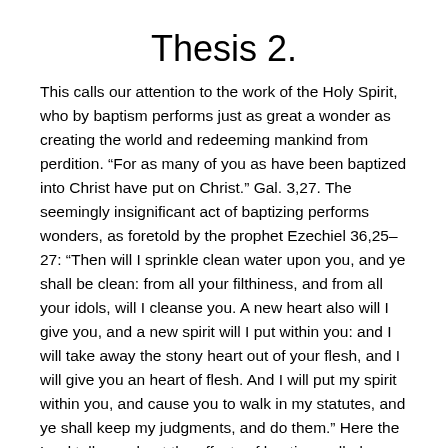Thesis 2.
This calls our attention to the work of the Holy Spirit, who by baptism performs just as great a wonder as creating the world and redeeming mankind from perdition. “For as many of you as have been baptized into Christ have put on Christ.” Gal. 3,27. The seemingly insignificant act of baptizing performs wonders, as foretold by the prophet Ezechiel 36,25–27: “Then will I sprinkle clean water upon you, and ye shall be clean: from all your filthiness, and from all your idols, will I cleanse you. A new heart also will I give you, and a new spirit will I put within you: and I will take away the stony heart out of your flesh, and I will give you an heart of flesh. And I will put my spirit within you, and cause you to walk in my statutes, and ye shall keep my judgments, and do them.” Here the Lord tells us about the effects of baptism called sprinkling, or as he calls it by St. Paul, Tit. 3, “the washing of regeneration and renewing